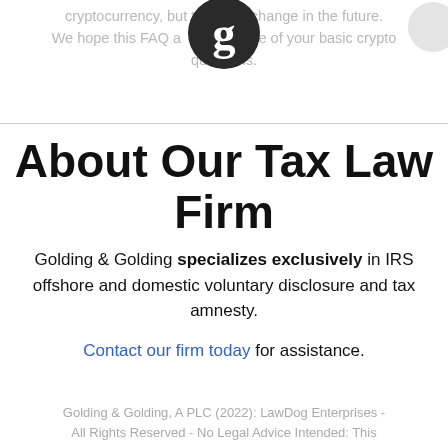cryptocurrency, but that may change in the future. We hope this FAQ answers some of your basic crypto questions.
[Figure (logo): Golding & Golding logo: dark circular icon with stylized 'g' letter]
About Our Tax Law Firm
Golding & Golding specializes exclusively in IRS offshore and domestic voluntary disclosure and tax amnesty.
Contact our firm today for assistance.
Golding & Golding, A PLC (2022): LawDog Enterprises - All Rights Reserved - No Legal Advice Intended: This